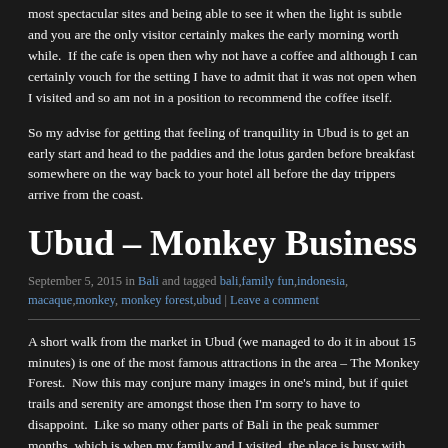most spectacular sites and being able to see it when the light is subtle and you are the only visitor certainly makes the early morning worth while. If the cafe is open then why not have a coffee and although I can certainly vouch for the setting I have to admit that it was not open when I visited and so am not in a position to recommend the coffee itself.
So my advise for getting that feeling of tranquility in Ubud is to get an early start and head to the paddies and the lotus garden before breakfast somewhere on the way back to your hotel all before the day trippers arrive from the coast.
Ubud – Monkey Business
September 5, 2015 in Bali and tagged bali, family fun, indonesia, macaque, monkey, monkey forest, ubud | Leave a comment
A short walk from the market in Ubud (we managed to do it in about 15 minutes) is one of the most famous attractions in the area – The Monkey Forest. Now this may conjure many images in one's mind, but if quiet trails and serenity are amongst those then I'm sorry to have to disappoint. Like so many other parts of Bali in the peak summer months, which is when my family and I visited, the place is busy with